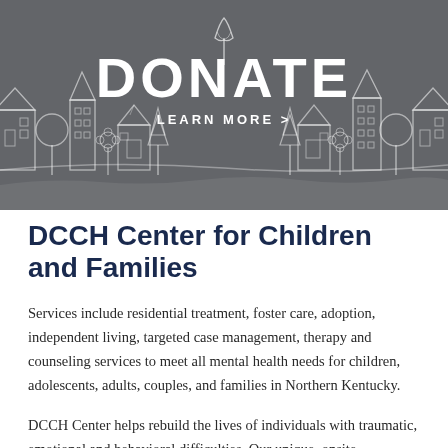[Figure (illustration): Dark grey banner with hand-drawn style skyline of buildings, houses, trees, and flowers in outline white. Center text reads DONATE and LEARN MORE >.]
DCCH Center for Children and Families
Services include residential treatment, foster care, adoption, independent living, targeted case management, therapy and counseling services to meet all mental health needs for children, adolescents, adults, couples, and families in Northern Kentucky.
DCCH Center helps rebuild the lives of individuals with traumatic, emotional and behavioral difficulties. Our unique, onsite personalized approach allows each person to thrive socially, mentally, and physically, and make positive, permanent